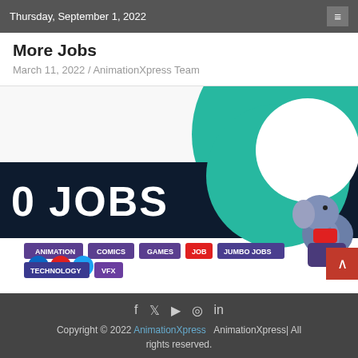Thursday, September 1, 2022
More Jobs
March 11, 2022 / AnimationXpress Team
[Figure (illustration): AnimationXpress banner showing '0 JOBS' text on dark navy background with teal circular design and cartoon elephant character. Tags shown: ANIMATION, COMICS, GAMES, JOB, JUMBO JOBS, TECHNOLOGY, VFX. Social media icons (LinkedIn, YouTube, Twitter) overlay bottom left.]
Copyright © 2022 AnimationXpress   AnimationXpress| All rights reserved.